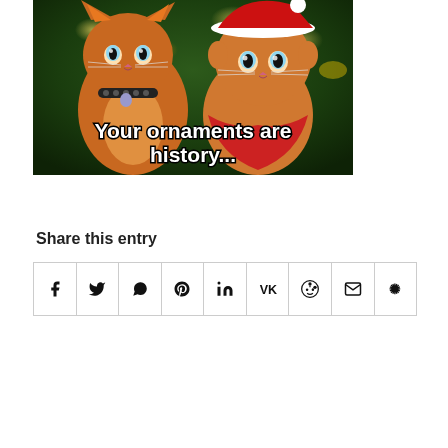[Figure (photo): Two orange cats dressed in Christmas costumes in front of a Christmas tree with the meme text 'Your ornaments are history...']
Share this entry
[Figure (infographic): Row of social media share buttons: Facebook, Twitter, WhatsApp, Pinterest, LinkedIn, VK, Reddit, Email, Yelp]